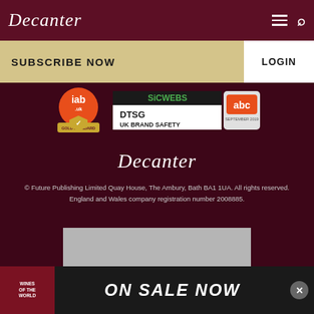Decanter
SUBSCRIBE NOW
LOGIN
[Figure (logo): IAB UK badge and DTSG UK Brand Safety badge with ABC September 2019 certification]
Decanter
© Future Publishing Limited Quay House, The Ambury, Bath BA1 1UA. All rights reserved. England and Wales company registration number 2008885.
[Figure (photo): Grey placeholder advertisement rectangle]
[Figure (infographic): Bottom banner ad: Wines of the World book cover image on left, ON SALE NOW text on right, with close button]